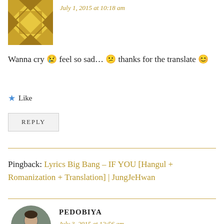July 1, 2015 at 10:18 am
Wanna cry 😢 feel so sad… 😕 thanks for the translate 😊
★ Like
REPLY
Pingback: Lyrics Big Bang – IF YOU [Hangul + Romanization + Translation] | JungJeHwan
PEDOBIYA
July 3, 2015 at 12:56 am